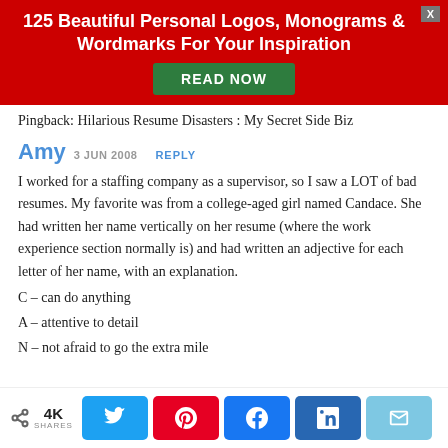[Figure (infographic): Red advertisement banner with title '125 Beautiful Personal Logos, Monograms & Wordmarks For Your Inspiration' and a green 'READ NOW' button, with a close X button.]
Pingback: Hilarious Resume Disasters : My Secret Side Biz
Amy  3 JUN 2008  REPLY
I worked for a staffing company as a supervisor, so I saw a LOT of bad resumes. My favorite was from a college-aged girl named Candace. She had written her name vertically on her resume (where the work experience section normally is) and had written an adjective for each letter of her name, with an explanation.
C – can do anything
A – attentive to detail
N – not afraid to go the extra mile
[Figure (infographic): Social share bar with share count 4K SHARES and buttons for Twitter, Pinterest, Facebook, LinkedIn, and Email.]